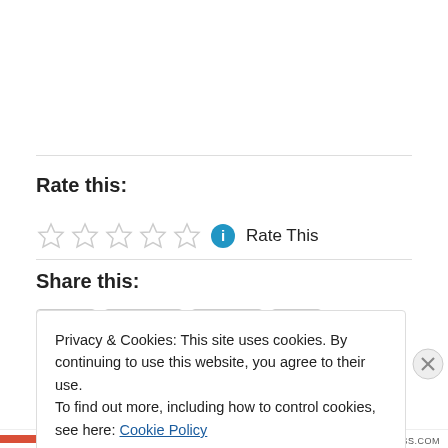Rate this:
[Figure (other): Five empty star rating icons followed by an info icon and 'Rate This' text]
Share this:
Privacy & Cookies: This site uses cookies. By continuing to use this website, you agree to their use.
To find out more, including how to control cookies, see here: Cookie Policy
Close and accept